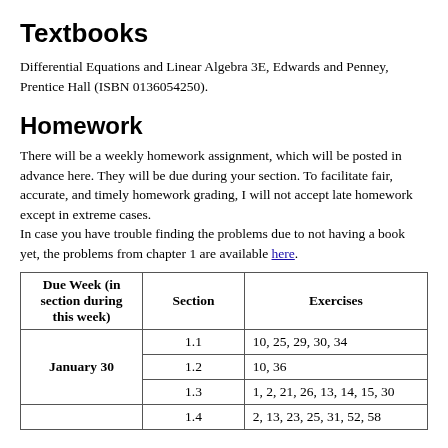Textbooks
Differential Equations and Linear Algebra 3E, Edwards and Penney, Prentice Hall (ISBN 0136054250).
Homework
There will be a weekly homework assignment, which will be posted in advance here. They will be due during your section. To facilitate fair, accurate, and timely homework grading, I will not accept late homework except in extreme cases.
In case you have trouble finding the problems due to not having a book yet, the problems from chapter 1 are available here.
| Due Week (in section during this week) | Section | Exercises |
| --- | --- | --- |
| January 30 | 1.1 | 10, 25, 29, 30, 34 |
| January 30 | 1.2 | 10, 36 |
| January 30 | 1.3 | 1, 2, 21, 26, 13, 14, 15, 30 |
|  | 1.4 | 2, 13, 23, 25, 31, 52, 58 |